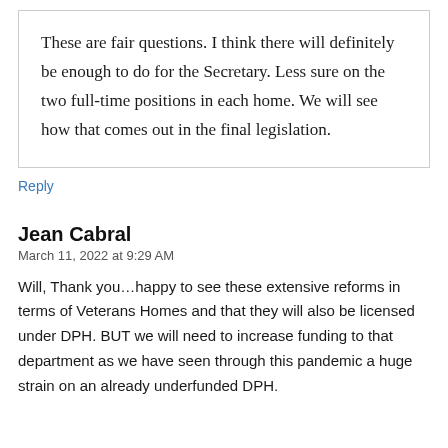These are fair questions. I think there will definitely be enough to do for the Secretary. Less sure on the two full-time positions in each home. We will see how that comes out in the final legislation.
Reply
Jean Cabral
March 11, 2022 at 9:29 AM
Will, Thank you…happy to see these extensive reforms in terms of Veterans Homes and that they will also be licensed under DPH. BUT we will need to increase funding to that department as we have seen through this pandemic a huge strain on an already underfunded DPH.